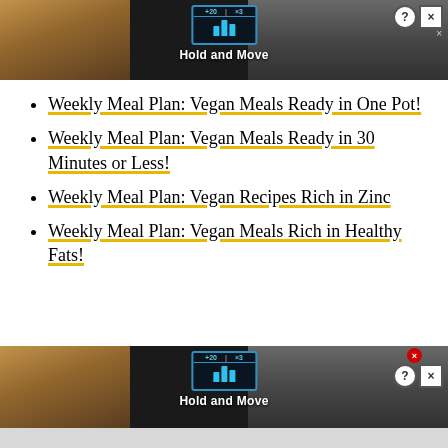[Figure (screenshot): Advertisement banner showing 'Hold and Move' app with dark background, trees, fitness icon display, and close buttons (? and X)]
Weekly Meal Plan: Vegan Meals Ready in One Pot!
Weekly Meal Plan: Vegan Meals Ready in 30 Minutes or Less!
Weekly Meal Plan: Vegan Recipes Rich in Zinc
Weekly Meal Plan: Vegan Meals Rich in Healthy Fats!
[Figure (screenshot): Second advertisement banner showing 'Hold and Move' app with dark background, trees, fitness icon display, and close buttons (? and X) with red X overlay]